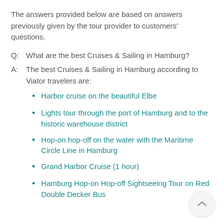The answers provided below are based on answers previously given by the tour provider to customers' questions.
Q:  What are the best Cruises & Sailing in Hamburg?
A:  The best Cruises & Sailing in Hamburg according to Viator travelers are:
Harbor cruise on the beautiful Elbe
Lights tour through the port of Hamburg and to the historic warehouse district
Hop-on hop-off on the water with the Maritime Circle Line in Hamburg
Grand Harbor Cruise (1 hour)
Hamburg Hop-on Hop-off Sightseeing Tour on Red Double Decker Bus